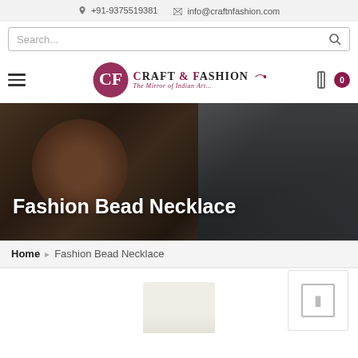📞 +91-9375519381  ✉ info@craftnfashion.com
[Figure (screenshot): Search bar with magnifying glass icon]
[Figure (logo): Craft & Fashion logo with text 'The Mirror of Indian Art...']
[Figure (photo): Hero banner showing bead necklace and Indian crafts with dark overlay]
Fashion Bead Necklace
Home › Fashion Bead Necklace
[Figure (photo): Partial product thumbnail at bottom of page with a sidebar navigation box on the right]